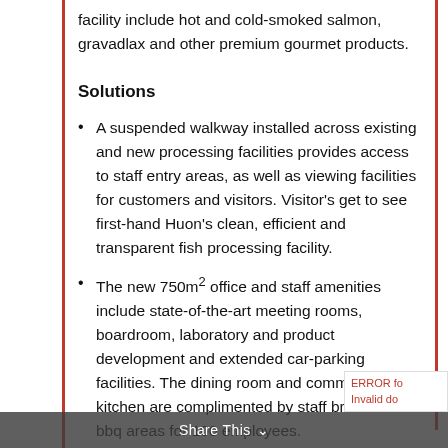facility include hot and cold-smoked salmon, gravadlax and other premium gourmet products.
Solutions
A suspended walkway installed across existing and new processing facilities provides access to staff entry areas, as well as viewing facilities for customers and visitors. Visitor's get to see first-hand Huon's clean, efficient and transparent fish processing facility.
The new 750m² office and staff amenities include state-of-the-art meeting rooms, boardroom, laboratory and product development and extended car-parking facilities. The dining room and commercial kitchen are complimented by staff breakout and bbq areas for 100 employees.